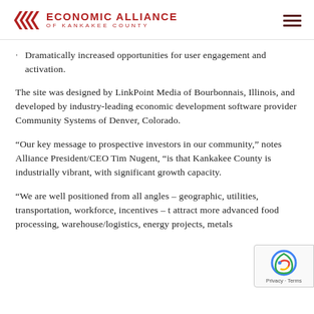ECONOMIC ALLIANCE OF KANKAKEE COUNTY
Dramatically increased opportunities for user engagement and activation.
The site was designed by LinkPoint Media of Bourbonnais, Illinois, and developed by industry-leading economic development software provider Community Systems of Denver, Colorado.
“Our key message to prospective investors in our community,” notes Alliance President/CEO Tim Nugent, “is that Kankakee County is industrially vibrant, with significant growth capacity.
“We are well positioned from all angles – geographic, utilities, transportation, workforce, incentives – t attract more advanced food processing, warehouse/logistics, energy projects, metals